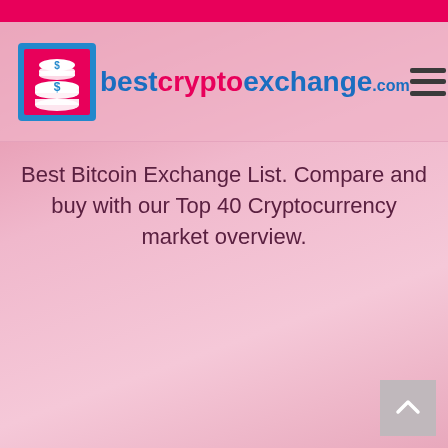bestcryptoexchange.com
Best Bitcoin Exchange List. Compare and buy with our Top 40 Cryptocurrency market overview.